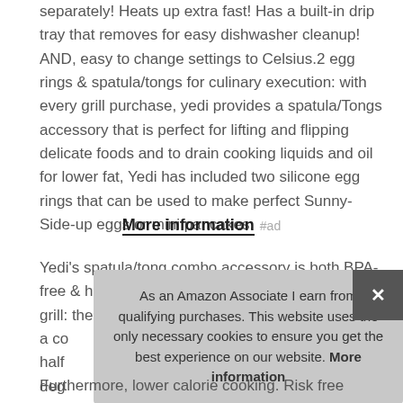separately! Heats up extra fast! Has a built-in drip tray that removes for easy dishwasher cleanup! AND, easy to change settings to Celsius.2 egg rings & spatula/tongs for culinary execution: with every grill purchase, yedi provides a spatula/Tongs accessory that is perfect for lifting and flipping delicate foods and to drain cooking liquids and oil for lower fat, Yedi has included two silicone egg rings that can be used to make perfect Sunny-Side-up eggs or mini pancakes.
More information #ad
Yedi's spatula/tong combo accessory is both BPA-free & heat-resistant. Yedi total package! 6-in-1 grill: the yedi grill works as a co half deg
As an Amazon Associate I earn from qualifying purchases. This website uses the only necessary cookies to ensure you get the best experience on our website. More information
Furthermore, lower calorie cooking. Risk free shopping: within